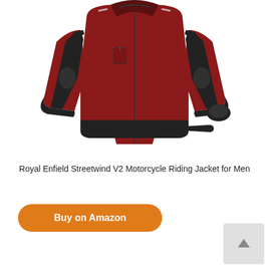[Figure (photo): A dark red/maroon motorcycle riding jacket with black panels, straps, and protective padding on shoulders and elbows. The jacket is displayed on a white background.]
Royal Enfield Streetwind V2 Motorcycle Riding Jacket for Men
[Figure (other): Orange rounded button with white bold text 'Buy on Amazon']